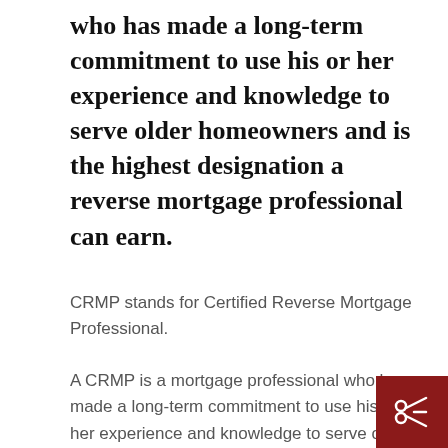who has made a long-term commitment to use his or her experience and knowledge to serve older homeowners and is the highest designation a reverse mortgage professional can earn.
CRMP stands for Certified Reverse Mortgage Professional.
A CRMP is a mortgage professional who has made a long-term commitment to use his or her experience and knowledge to serve older homeowners and is the
[Figure (logo): Dark red square logo with a white scissors/cut icon]